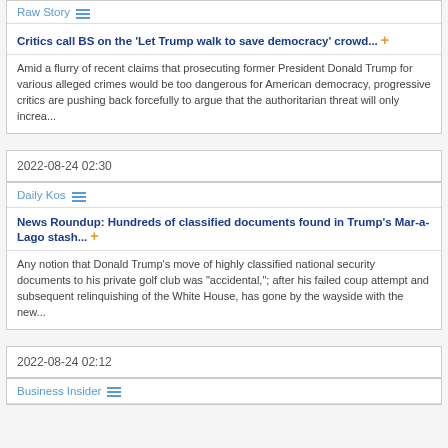Raw Story
Critics call BS on the 'Let Trump walk to save democracy' crowd... +
Amid a flurry of recent claims that prosecuting former President Donald Trump for various alleged crimes would be too dangerous for American democracy, progressive critics are pushing back forcefully to argue that the authoritarian threat will only increa...
2022-08-24 02:30
Daily Kos
News Roundup: Hundreds of classified documents found in Trump's Mar-a-Lago stash... +
Any notion that Donald Trump's move of highly classified national security documents to his private golf club was "accidental,"; after his failed coup attempt and subsequent relinquishing of the White House, has gone by the wayside with the new...
2022-08-24 02:12
Business Insider